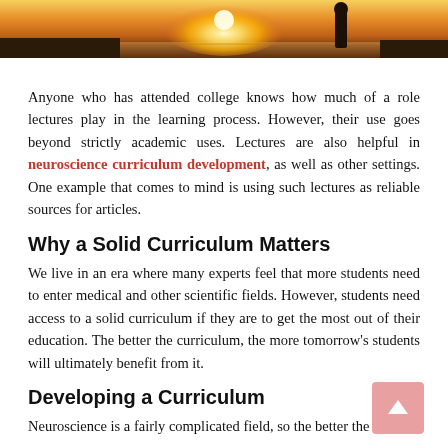[Figure (photo): Beach sunset photo with a silhouetted figure standing near the water, sun on the horizon]
Anyone who has attended college knows how much of a role lectures play in the learning process. However, their use goes beyond strictly academic uses. Lectures are also helpful in neuroscience curriculum development, as well as other settings. One example that comes to mind is using such lectures as reliable sources for articles.
Why a Solid Curriculum Matters
We live in an era where many experts feel that more students need to enter medical and other scientific fields. However, students need access to a solid curriculum if they are to get the most out of their education. The better the curriculum, the more tomorrow's students will ultimately benefit from it.
Developing a Curriculum
Neuroscience is a fairly complicated field, so the better the